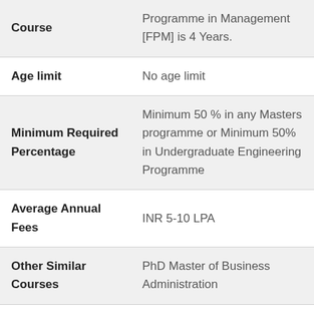| Field | Details |
| --- | --- |
| Course | Programme in Management [FPM] is 4 Years. |
| Age limit | No age limit |
| Minimum Required Percentage | Minimum 50 % in any Masters programme or Minimum 50% in Undergraduate Engineering Programme |
| Average Annual Fees | INR 5-10 LPA |
| Other Similar Courses | PhD Master of Business Administration |